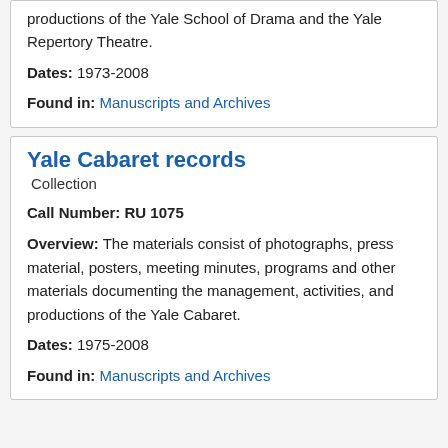productions of the Yale School of Drama and the Yale Repertory Theatre.
Dates: 1973-2008
Found in: Manuscripts and Archives
Yale Cabaret records
Collection
Call Number: RU 1075
Overview: The materials consist of photographs, press material, posters, meeting minutes, programs and other materials documenting the management, activities, and productions of the Yale Cabaret.
Dates: 1975-2008
Found in: Manuscripts and Archives